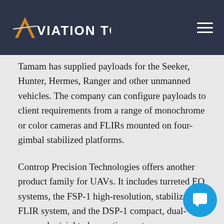Aviation Today
Tamam has supplied payloads for the Seeker, Hunter, Hermes, Ranger and other unmanned vehicles. The company can configure payloads to client requirements from a range of monochrome or color cameras and FLIRs mounted on four-gimbal stabilized platforms.
Controp Precision Technologies offers another product family for UAVs. It includes turreted EO systems, the FSP-1 high-resolution, stabilized FLIR system, and the DSP-1 compact, dual-sensor day/night observation system.
The DSP-1 features a 786-by-494-pixel color, d TV camera with a 22.5X zoom lens and a focal p array detector for night operations. The thermal